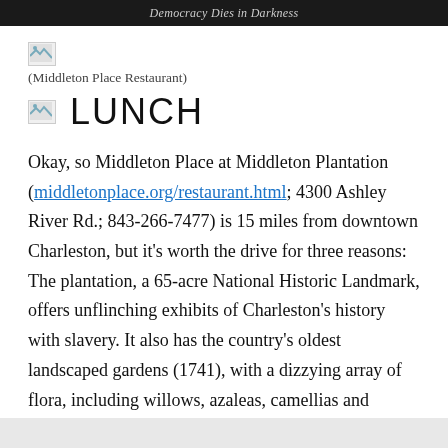Democracy Dies in Darkness
[Figure (photo): Broken image placeholder (Middleton Place Restaurant photo)]
(Middleton Place Restaurant)
[Figure (photo): Broken image placeholder beside LUNCH heading]
LUNCH
Okay, so Middleton Place at Middleton Plantation (middletonplace.org/restaurant.html; 4300 Ashley River Rd.; 843-266-7477) is 15 miles from downtown Charleston, but it’s worth the drive for three reasons: The plantation, a 65-acre National Historic Landmark, offers unflinching exhibits of Charleston’s history with slavery. It also has the country’s oldest landscaped gardens (1741), with a dizzying array of flora, including willows, azaleas, camellias and magnolias, some of which sit on a